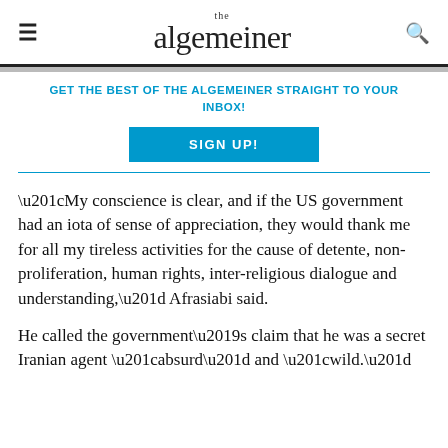the algemeiner
GET THE BEST OF THE ALGEMEINER STRAIGHT TO YOUR INBOX!
SIGN UP!
“My conscience is clear, and if the US government had an iota of sense of appreciation, they would thank me for all my tireless activities for the cause of detente, non-proliferation, human rights, inter-religious dialogue and understanding,” Afrasiabi said.
He called the government’s claim that he was a secret Iranian agent “absurd” and “wild.”